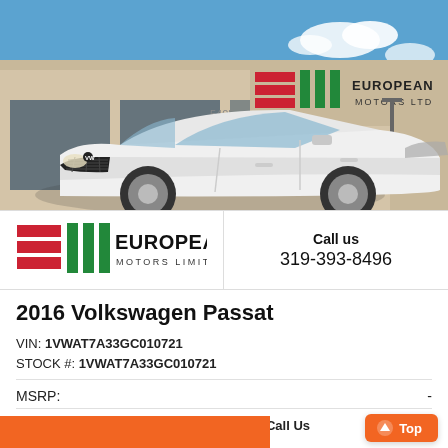[Figure (photo): White Volkswagen Passat sedan parked in front of European Motors Ltd dealership building under blue sky]
[Figure (logo): European Motors Limited logo with red and green horizontal bars and vertical bars]
Call us
319-393-8496
2016 Volkswagen Passat
VIN: 1VWAT7A33GC010721
STOCK #: 1VWAT7A33GC010721
MSRP:  -
Dealer Discount  Call Us